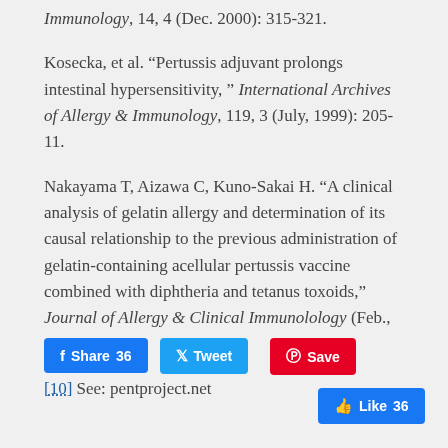Immunology, 14, 4 (Dec. 2000): 315-321.
Kosecka, et al. “Pertussis adjuvant prolongs intestinal hypersensitivity, ” International Archives of Allergy & Immunology, 119, 3 (July, 1999): 205-11.
Nakayama T, Aizawa C, Kuno-Sakai H. “A clinical analysis of gelatin allergy and determination of its causal relationship to the previous administration of gelatin-containing acellular pertussis vaccine combined with diphtheria and tetanus toxoids,” Journal of Allergy & Clinical Immunolology (Feb., 1999): 321-5.
[10] See: pentproject.net
[Figure (other): Social sharing buttons: Facebook Share 36, Tweet, Pinterest Save, Facebook Like 36]